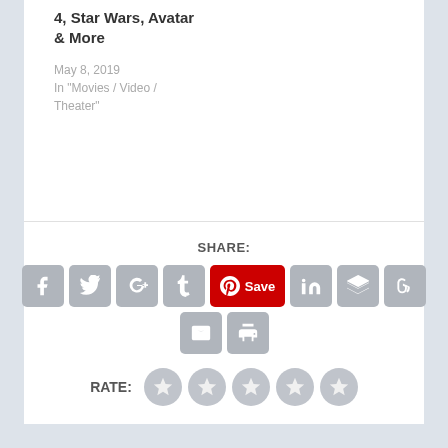4, Star Wars, Avatar & More
May 8, 2019
In "Movies / Video / Theater"
SHARE:
[Figure (infographic): Social share buttons: Facebook, Twitter, Google+, Tumblr, Pinterest Save, LinkedIn, Buffer, StumbleUpon, Email, Print]
RATE:
[Figure (infographic): Five grey star rating circles]